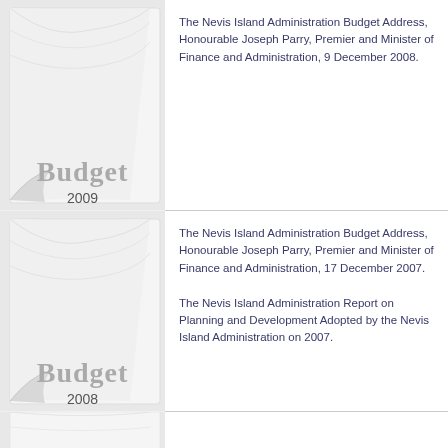[Figure (illustration): Book cover thumbnail with curled page corner effect, gray tones, labeled 'Budget 2009']
The Nevis Island Administration Budget Address, Honourable Joseph Parry, Premier and Minister of Finance and Administration, 9 December 2008.
[Figure (illustration): Book cover thumbnail with curled page corner effect, gray tones, labeled 'Budget 2008']
The Nevis Island Administration Budget Address, Honourable Joseph Parry, Premier and Minister of Finance and Administration, 17 December 2007.
The Nevis Island Administration Report on Planning and Development Adopted by the Nevis Island Administration on 2007.
[Figure (illustration): Partial book cover thumbnail visible at bottom of page, gray tones]